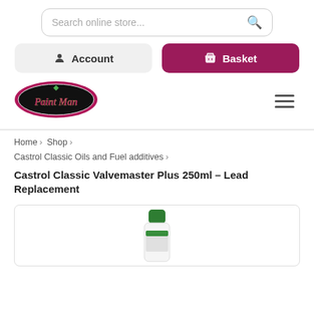Search online store...
Account
Basket
[Figure (logo): Paint Man logo — dark oval with pink border, green diamond, stylized text 'Paint Man']
Home › Shop › Castrol Classic Oils and Fuel additives › Castrol Classic Valvemaster Plus 250ml – Lead Replacement
Castrol Classic Valvemaster Plus 250ml – Lead Replacement
[Figure (photo): Partial photo of Castrol Classic Valvemaster Plus 250ml product bottle with green cap, white body, cropped at bottom of frame]